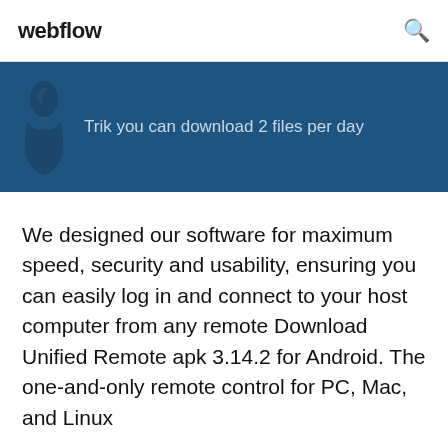webflow
Trik you can download 2 files per day
We designed our software for maximum speed, security and usability, ensuring you can easily log in and connect to your host computer from any remote Download Unified Remote apk 3.14.2 for Android. The one-and-only remote control for PC, Mac, and Linux